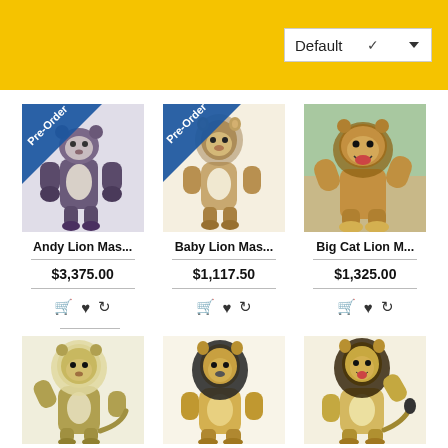[Figure (screenshot): Yellow top navigation bar with Default dropdown selector]
[Figure (photo): Andy Lion Mascot costume with Pre-Order badge, brown/purple lion suit]
Andy Lion Mas...
$3,375.00
[Figure (photo): Baby Lion Mascot costume with Pre-Order badge, tan baby lion suit]
Baby Lion Mas...
$1,117.50
[Figure (photo): Big Cat Lion Mascot costume, tan lion with mane sitting outdoors]
Big Cat Lion M...
$1,325.00
[Figure (photo): Lion mascot costume, tan with white mane, raising paw]
[Figure (photo): Lion mascot costume with black mane, standing]
[Figure (photo): Lion mascot costume, tan with black mane, waving paw]